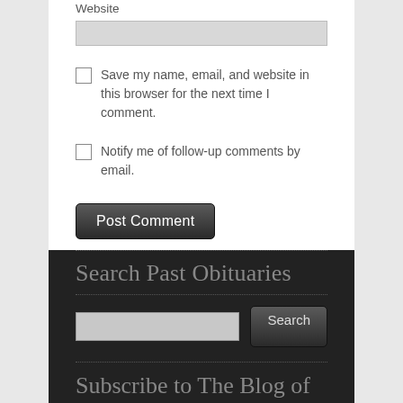Website
Save my name, email, and website in this browser for the next time I comment.
Notify me of follow-up comments by email.
Post Comment
Search Past Obituaries
Search
Subscribe to The Blog of Death via Email